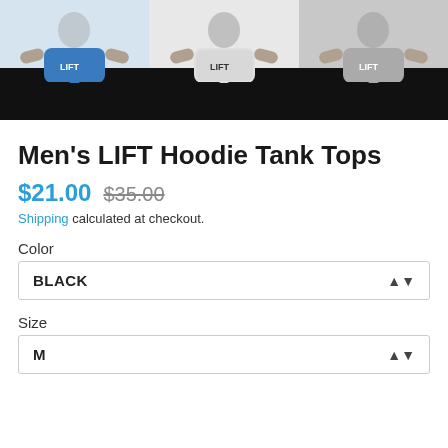[Figure (photo): Three muscular men wearing LIFT brand hoodie tank tops in blue, white, and gray colors against a dark background]
Men's LIFT Hoodie Tank Tops
$21.00 $35.00
Shipping calculated at checkout.
Color
BLACK
Size
M